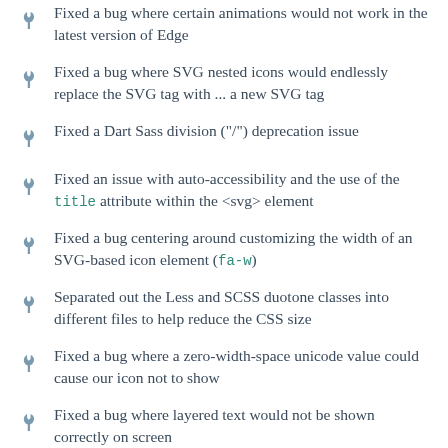Fixed a bug where certain animations would not work in the latest version of Edge
Fixed a bug where SVG nested icons would endlessly replace the SVG tag with ... a new SVG tag
Fixed a Dart Sass division ("/") deprecation issue
Fixed an issue with auto-accessibility and the use of the title attribute within the <svg> element
Fixed a bug centering around customizing the width of an SVG-based icon element (fa-w)
Separated out the Less and SCSS duotone classes into different files to help reduce the CSS size
Fixed a bug where a zero-width-space unicode value could cause our icon not to show
Fixed a bug where layered text would not be shown correctly on screen